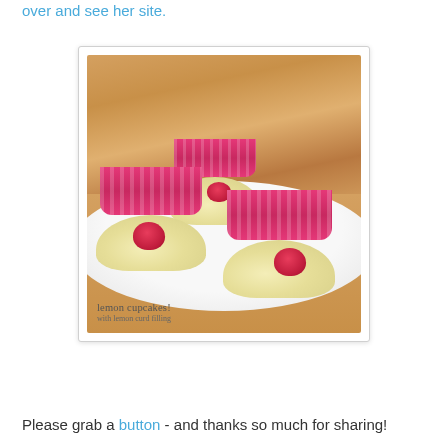over and see her site.
[Figure (photo): Three lemon cupcakes with cream cheese frosting and fresh raspberries on top, in pink polka-dot wrappers on a white plate. Text overlay reads 'lemon cupcakes! with lemon curd filling']
Please grab a button  - and thanks so much for sharing!